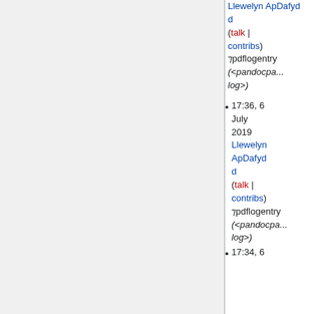Llewelyn ApDafydd (talk | contribs) ⁊pdflogentry (<pandocpandoclog>)
17:36, 6 July 2019 Llewelyn ApDafydd (talk | contribs) ⁊pdflogentry (<pandocpandoclog>)
17:34, 6